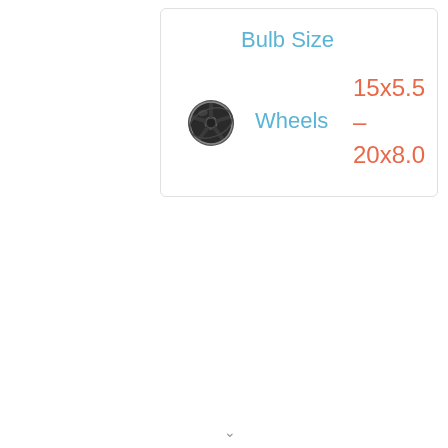Bulb Size
[Figure (illustration): Black alloy wheel icon]
Wheels
15x5.5 – 20x8.0